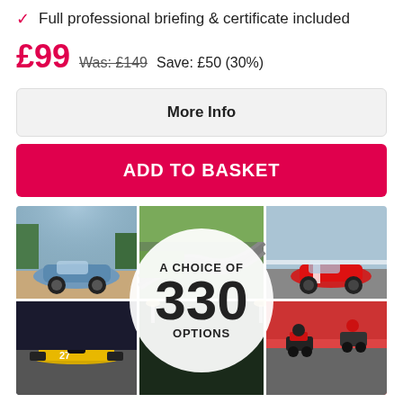Full professional briefing & certificate included
£99  Was: £149  Save: £50 (30%)
More Info
ADD TO BASKET
[Figure (photo): Photo collage of racing cars and karting events with a circular overlay reading 'A CHOICE OF 330 OPTIONS']